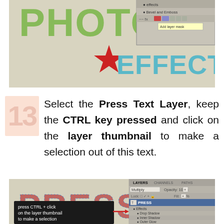[Figure (screenshot): Photoshop screenshot showing text effects: PHOTOS and EFFECT text with layer panel showing Bevel and Emboss effect options]
Select the Press Text Layer, keep the CTRL key pressed and click on the layer thumbnail to make a selection out of this text.
[Figure (screenshot): Photoshop screenshot showing PRESS text layer selected with T thumbnail, Effects expanded showing Drop Shadow, Inner Shadow, Outer Glow. Black callout box says 'press CTRL + click on the layer thumbnail to make a selection'. Layers panel shows Multiply blend mode at 100% opacity.]